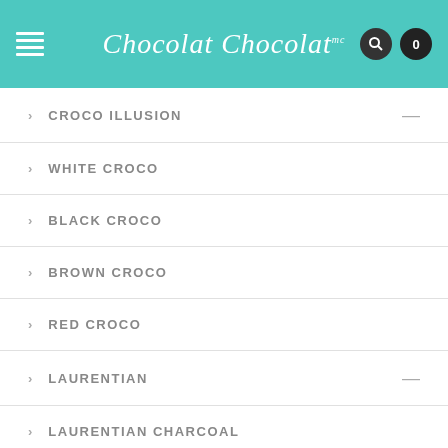[Figure (screenshot): Website header with teal/turquoise background, hamburger menu icon on left, Chocolat Chocolat cursive logo in center, search icon and cart badge (0) on right]
> CROCO ILLUSION —
> WHITE CROCO
> BLACK CROCO
> BROWN CROCO
> RED CROCO
> LAURENTIAN —
> LAURENTIAN CHARCOAL